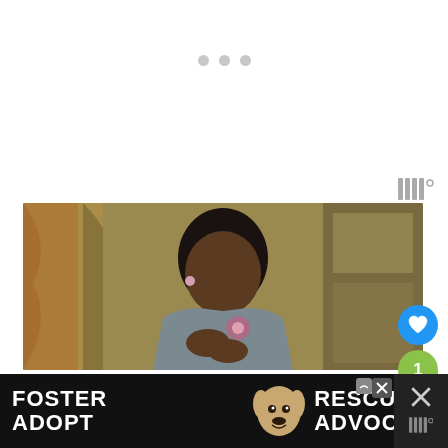[Figure (screenshot): White area with three gray dots (loading indicator) centered horizontally near the top]
[Figure (screenshot): Filmstrip/video icon in the upper right area]
[Figure (photo): Movie still showing a Black woman in period costume, looking down at her hands, in an interior room setting]
[Figure (screenshot): Blue circular heart/like button on the right side]
[Figure (screenshot): Green share button with count badge showing '1' on the right side]
[Figure (screenshot): Black advertisement banner at bottom reading FOSTER ADOPT | RESCUE ADVOCATE with a dog image]